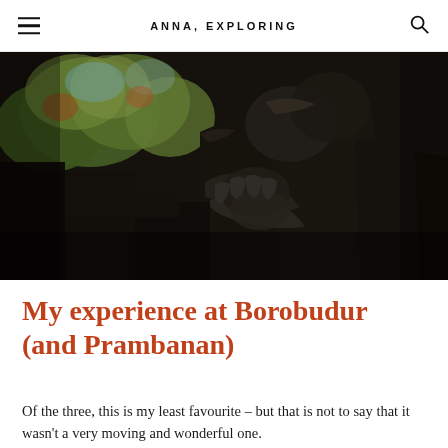ANNA, EXPLORING
[Figure (photo): Close-up photograph of dark stone statues or carvings at Borobudur temple, with lush green trees visible in the background. The stone figures are depicted in dim, moody lighting showing intricately carved hands and robes.]
My experience at Borobudur (and Prambanan)
Of the three, this is my least favourite – but that is not to say that it wasn't a very moving and wonderful one.